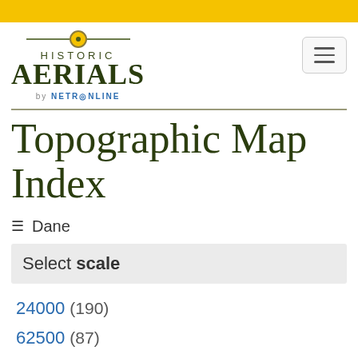[Figure (logo): Historic Aerials by NetOnline logo with gold circle accent and horizontal lines]
Topographic Map Index
≡ Dane
Select scale
24000 (190)
62500 (87)
100000 (2)
250000 (10)